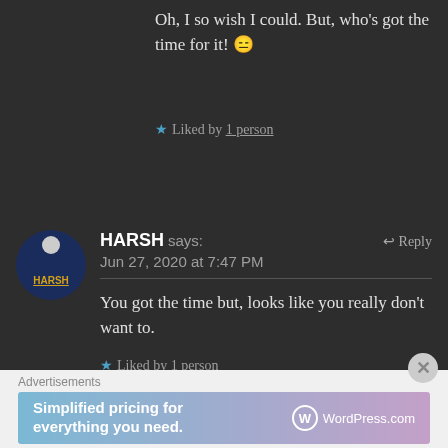Oh, I so wish I could. But, who's got the time for it! 😑
★ Liked by 1 person
HARSH says: Jun 27, 2020 at 7:47 PM ↩ Reply
You got the time but, looks like you really don't want to.
★ Liked by 1 person
Advertisements
[Figure (other): WordPress.com advertisement banner: 'Simplified pricing for everything you need' with WordPress.com logo]